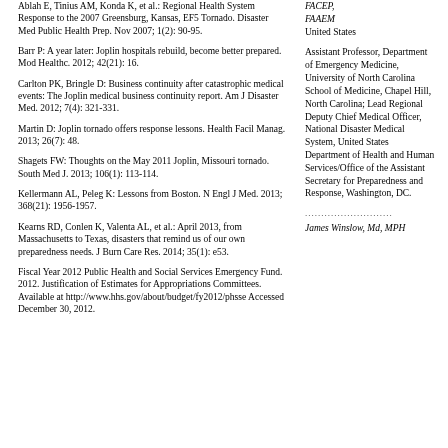Ablah E, Tinius AM, Konda K, et al.: Regional Health System Response to the 2007 Greensburg, Kansas, EF5 Tornado. Disaster Med Public Health Prep. Nov 2007; 1(2): 90-95.
Barr P: A year later: Joplin hospitals rebuild, become better prepared. Mod Healthc. 2012; 42(21): 16.
Carlton PK, Bringle D: Business continuity after catastrophic medical events: The Joplin medical business continuity report. Am J Disaster Med. 2012; 7(4): 321-331.
Martin D: Joplin tornado offers response lessons. Health Facil Manag. 2013; 26(7): 48.
Shagets FW: Thoughts on the May 2011 Joplin, Missouri tornado. South Med J. 2013; 106(1): 113-114.
Kellermann AL, Peleg K: Lessons from Boston. N Engl J Med. 2013; 368(21): 1956-1957.
Kearns RD, Conlen K, Valenta AL, et al.: April 2013, from Massachusetts to Texas, disasters that remind us of our own preparedness needs. J Burn Care Res. 2014; 35(1): e53.
Fiscal Year 2012 Public Health and Social Services Emergency Fund. 2012. Justification of Estimates for Appropriations Committees. Available at http://www.hhs.gov/about/budget/fy2012/phsse Accessed December 30, 2012.
FACEP, FAAEM United States
Assistant Professor, Department of Emergency Medicine, University of North Carolina School of Medicine, Chapel Hill, North Carolina; Lead Regional Deputy Chief Medical Officer, National Disaster Medical System, United States Department of Health and Human Services/Office of the Assistant Secretary for Preparedness and Response, Washington, DC.
James Winslow, Md, MPH